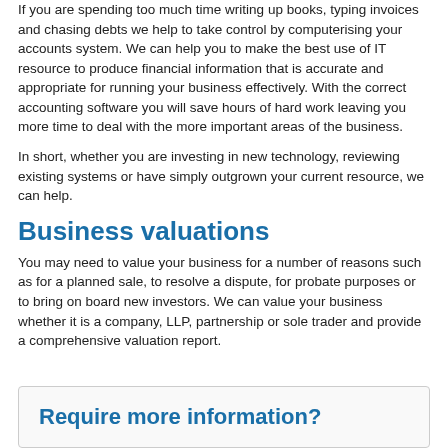If you are spending too much time writing up books, typing invoices and chasing debts we help to take control by computerising your accounts system. We can help you to make the best use of IT resource to produce financial information that is accurate and appropriate for running your business effectively. With the correct accounting software you will save hours of hard work leaving you more time to deal with the more important areas of the business.
In short, whether you are investing in new technology, reviewing existing systems or have simply outgrown your current resource, we can help.
Business valuations
You may need to value your business for a number of reasons such as for a planned sale, to resolve a dispute, for probate purposes or to bring on board new investors. We can value your business whether it is a company, LLP, partnership or sole trader and provide a comprehensive valuation report.
Require more information?